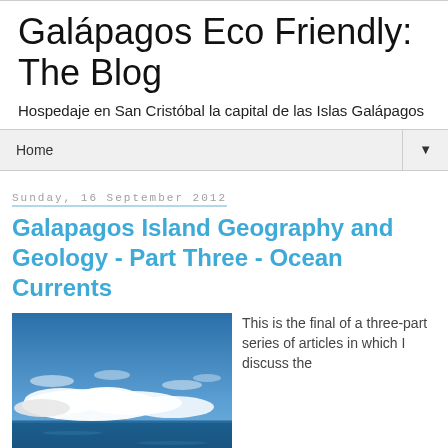Galápagos Eco Friendly: The Blog
Hospedaje en San Cristóbal la capital de las Islas Galápagos
Home
Sunday, 16 September 2012
Galapagos Island Geography and Geology - Part Three - Ocean Currents
[Figure (photo): Photo of ocean horizon with clouds against a blue sky, appearing to show a view of the ocean from the Galapagos Islands]
This is the final of a three-part series of articles in which I discuss the